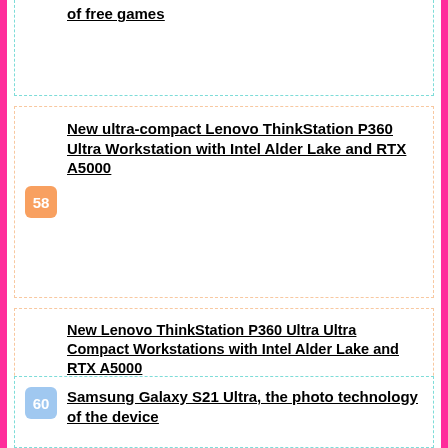of free games
New ultra-compact Lenovo ThinkStation P360 Ultra Workstation with Intel Alder Lake and RTX A5000
New Lenovo ThinkStation P360 Ultra Ultra Compact Workstations with Intel Alder Lake and RTX A5000
Samsung Galaxy S21 Ultra, the photo technology of the device